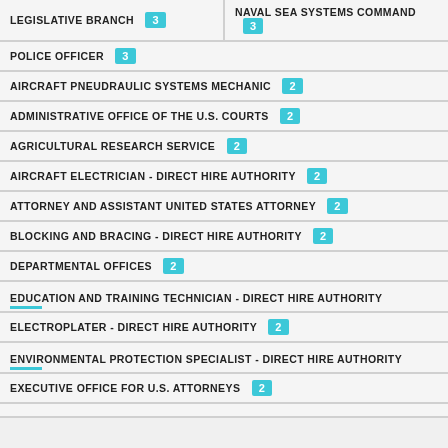LEGISLATIVE BRANCH (3)
NAVAL SEA SYSTEMS COMMAND (3)
POLICE OFFICER (3)
AIRCRAFT PNEUDRAULIC SYSTEMS MECHANIC (2)
ADMINISTRATIVE OFFICE OF THE U.S. COURTS (2)
AGRICULTURAL RESEARCH SERVICE (2)
AIRCRAFT ELECTRICIAN - DIRECT HIRE AUTHORITY (2)
ATTORNEY AND ASSISTANT UNITED STATES ATTORNEY (2)
BLOCKING AND BRACING - DIRECT HIRE AUTHORITY (2)
DEPARTMENTAL OFFICES (2)
EDUCATION AND TRAINING TECHNICIAN - DIRECT HIRE AUTHORITY
ELECTROPLATER - DIRECT HIRE AUTHORITY (2)
ENVIRONMENTAL PROTECTION SPECIALIST - DIRECT HIRE AUTHORITY
EXECUTIVE OFFICE FOR U.S. ATTORNEYS (2)